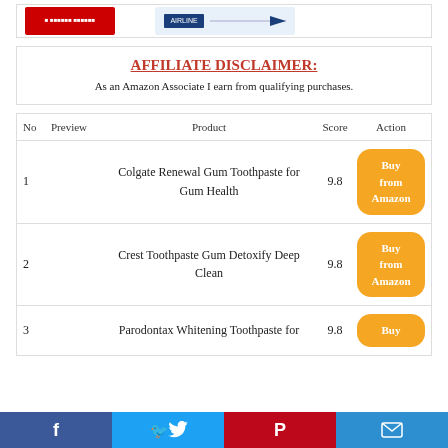[Figure (other): Top banner with advertisement images including red banner and airline-related image]
AFFILIATE DISCLAIMER:
As an Amazon Associate I earn from qualifying purchases.
| No | Preview | Product | Score | Action |
| --- | --- | --- | --- | --- |
| 1 |  | Colgate Renewal Gum Toothpaste for Gum Health | 9.8 | Buy from Amazon |
| 2 |  | Crest Toothpaste Gum Detoxify Deep Clean | 9.8 | Buy from Amazon |
| 3 |  | Parodontax Whitening Toothpaste for | 9.8 | Buy |
[Figure (other): Social media share bar with Facebook, Twitter, Pinterest, and email icons]